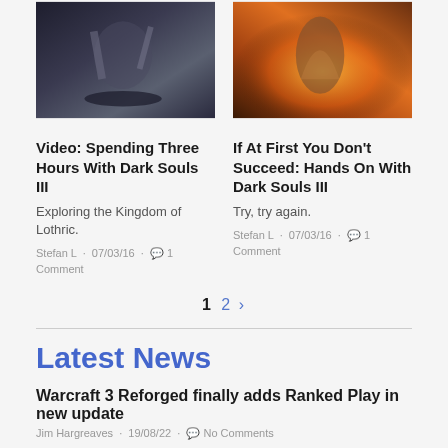[Figure (photo): Dark Souls III gameplay screenshot showing a dark, gritty combat scene]
[Figure (photo): Dark Souls III gameplay screenshot showing a fiery battle scene]
Video: Spending Three Hours With Dark Souls III
If At First You Don't Succeed: Hands On With Dark Souls III
Exploring the Kingdom of Lothric.
Try, try again.
Stefan L · 07/03/16 · 1 Comment
Stefan L · 07/03/16 · 1 Comment
1  2  >
Latest News
Warcraft 3 Reforged finally adds Ranked Play in new update
Jim Hargreaves · 19/08/22 · No Comments